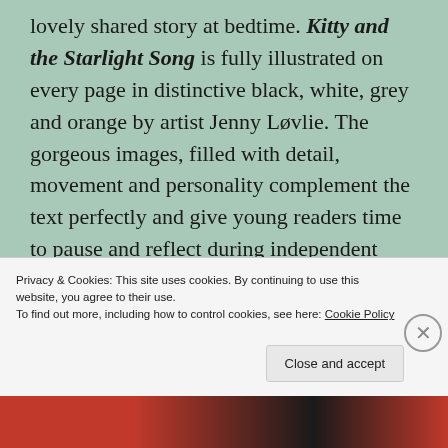lovely shared story at bedtime. Kitty and the Starlight Song is fully illustrated on every page in distinctive black, white, grey and orange by artist Jenny Løvlie. The gorgeous images, filled with detail, movement and personality complement the text perfectly and give young readers time to pause and reflect during independent reading. At just over 100 pages, Kitty and the Starlight Song is the perfect length to give newly confident readers the warm glow of satisfaction at reading a whole book alone and the design and size of the book is ideal for small hands.
Privacy & Cookies: This site uses cookies. By continuing to use this website, you agree to their use. To find out more, including how to control cookies, see here: Cookie Policy
Close and accept